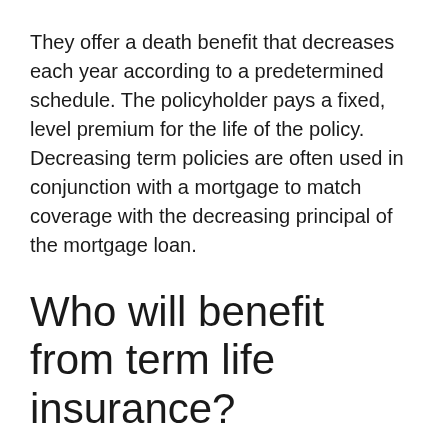They offer a death benefit that decreases each year according to a predetermined schedule. The policyholder pays a fixed, level premium for the life of the policy. Decreasing term policies are often used in conjunction with a mortgage to match coverage with the decreasing principal of the mortgage loan.
Who will benefit from term life insurance?
Term life insurance is attractive to young couples with children. Parents can get large amounts of coverage at a reasonably low cost. On the death of